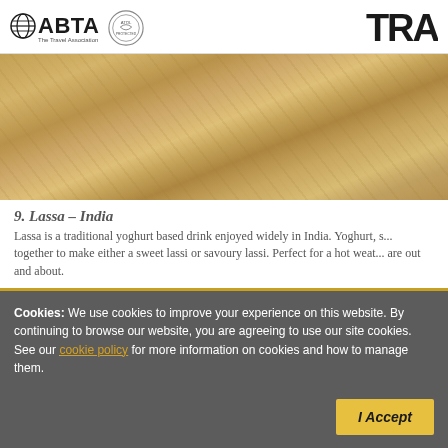ABTA The Travel Association | ATOL Protected | TRAV
[Figure (photo): Close-up photo of diagonal wooden slats or bamboo with warm golden-brown tones, abstract texture]
9. Lassa – India
Lassa is a traditional yoghurt based drink enjoyed widely in India. Yoghurt, s... together to make either a sweet lassi or savoury lassi. Perfect for a hot weat... are out and about.
Cookies: We use cookies to improve your experience on this website. By continuing to browse our website, you are agreeing to use our site cookies. See our cookie policy for more information on cookies and how to manage them.